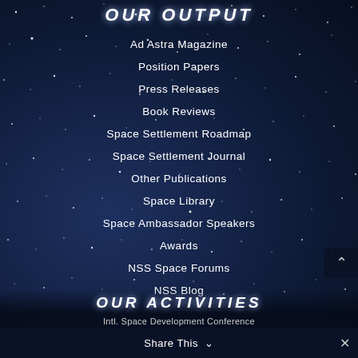OUR OUTPUT
Ad Astra Magazine
Position Papers
Press Releases
Book Reviews
Space Settlement Roadmap
Space Settlement Journal
Other Publications
Space Library
Space Ambassador Speakers
Awards
NSS Space Forums
NSS Blog
OUR ACTIVITIES
Share This
Intl. Space Development Conference